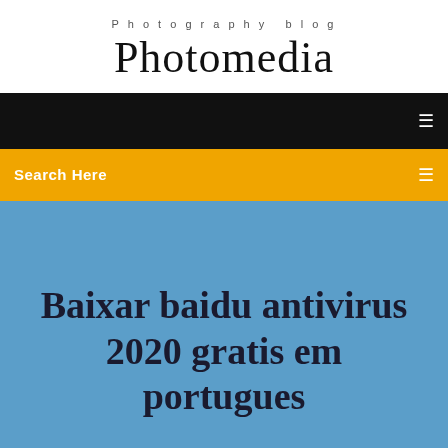Photography blog
Photomedia
[Figure (screenshot): Black navigation bar with a small white menu icon on the right]
Search Here
Baixar baidu antivirus 2020 gratis em portugues